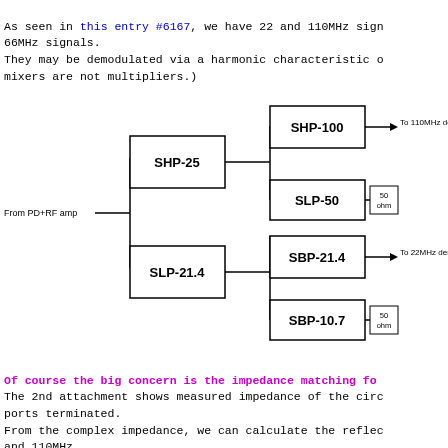As seen in this entry #6167, we have 22 and 110MHz sign 66MHz signals.
They may be demodulated via a harmonic characteristic o mixers are not multipliers.)
[Figure (engineering-diagram): Block diagram showing a signal path from 'From PD+RF amp' input through SHP-25 filter which splits to SHP-100 (output: To 110MHz demod) and SLP-50 (output: 50 ohm termination), and through SLP-21.4 filter which splits to SBP-21.4 (output: To 22MHz demod) and SBP-10.7 (output: 50 ohm termination).]
Of course the big concern is the impedance matching fo
The 2nd attachment shows measured impedance of the circ ports terminated.
From the complex impedance, we can calculate the reflec and 110MHz
components look correctly matched while the others seem
This certainly is not a nice situation, as the reflecti next to the PD unhappy
(although the reflected power is tiny in our case).